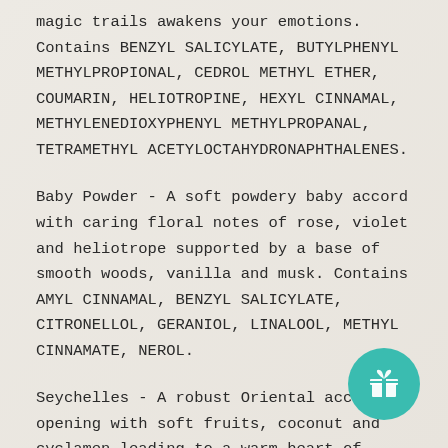magic trails awakens your emotions. Contains BENZYL SALICYLATE, BUTYLPHENYL METHYLPROPIONAL, CEDROL METHYL ETHER, COUMARIN, HELIOTROPINE, HEXYL CINNAMAL, METHYLENEDIOXYPHENYL METHYLPROPANAL, TETRAMETHYL ACETYLOCTAHYDRONAPHTHALENES.
Baby Powder - A soft powdery baby accord with caring floral notes of rose, violet and heliotrope supported by a base of smooth woods, vanilla and musk. Contains AMYL CINNAMAL, BENZYL SALICYLATE, CITRONELLOL, GERANIOL, LINALOOL, METHYL CINNAMATE, NEROL.
Seychelles - A robust Oriental accor opening with soft fruits, coconut and cyclamen leading to a warm heart of clove
[Figure (illustration): Teal circular button with a gift box icon in the bottom right corner]